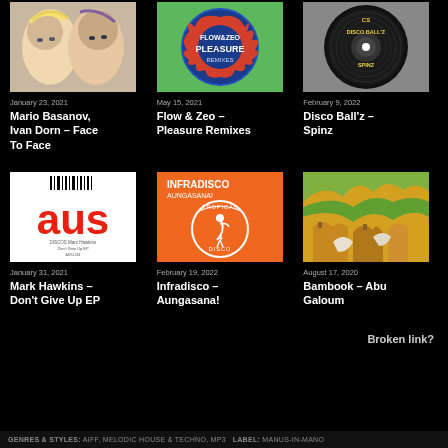[Figure (photo): Album art for Mario Basanov, Ivan Dorn – Face To Face, showing two illustrated faces]
January 23, 2021
Mario Basanov, Ivan Dorn – Face To Face
[Figure (photo): Album art for Flow & Zeo – Pleasure Remixes, circular blue and red design]
May 15, 2021
Flow & Zeo – Pleasure Remixes
[Figure (photo): Album art for Disco Ball'z – Spinz, black vinyl record]
February 9, 2022
Disco Ball'z – Spinz
[Figure (photo): Album art for Mark Hawkins – Don't Give Up EP, red text on white background]
January 31, 2021
Mark Hawkins – Don't Give Up EP
[Figure (photo): Album art for Infradisco – Aungasana!, orange background with tropical disco flamingo logo]
February 19, 2022
Infradisco – Aungasana!
[Figure (photo): Album art for Bambook – Abu Galoum, colorful abstract animals illustration]
August 17, 2020
Bambook – Abu Galoum
Broken link?
GENRES & STYLES: AIFF, MELODIC HOUSE & TECHNO, MP3   LABEL: MANUS-IN-MANO